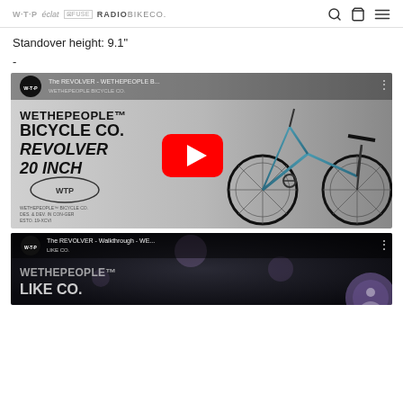WTP eclat FUSE RADIOBIKECO.
Standover height: 9.1"
-
[Figure (screenshot): YouTube video thumbnail for 'The REVOLVER - WETHEPEOPLE B...' showing a teal/blue BMX bicycle (WETHEPEOPLE BICYCLE CO. REVOLVER 20 INCH) with a red YouTube play button overlay. WTP logo in top left corner. Three dots menu top right.]
[Figure (screenshot): Second YouTube video thumbnail for 'The REVOLVER - Walkthrough - WE...' showing WETHEPEOPLE branding in dark/bokeh background. WTP logo in top left. Three dots menu top right. Purple circle overlay bottom right.]